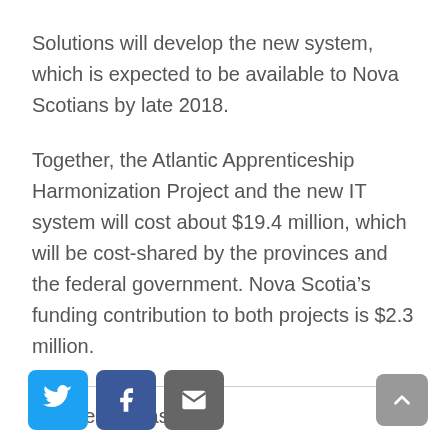Solutions will develop the new system, which is expected to be available to Nova Scotians by late 2018.
Together, the Atlantic Apprenticeship Harmonization Project and the new IT system will cost about $19.4 million, which will be cost-shared by the provinces and the federal government. Nova Scotia’s funding contribution to both projects is $2.3 million.
Source: Release
[Figure (other): Social sharing buttons: Twitter (blue), Facebook (dark blue), Email (grey), and a scroll-to-top button (grey arrow up)]